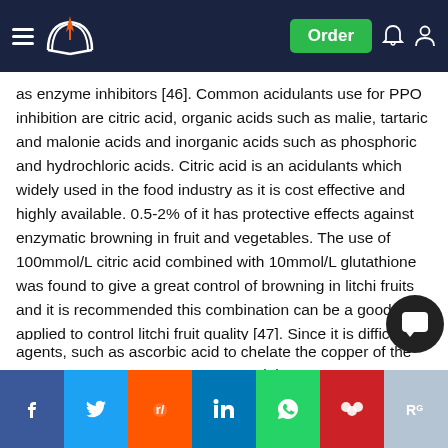Navigation bar with logo and Order button
as enzyme inhibitors [46]. Common acidulants use for PPO inhibition are citric acid, organic acids such as malie, tartaric and malonie acids and inorganic acids such as phosphoric and hydrochloric acids. Citric acid is an acidulants which widely used in the food industry as it is cost effective and highly available. 0.5-2% of it has protective effects against enzymatic browning in fruit and vegetables. The use of 100mmol/L citric acid combined with 10mmol/L glutathione was found to give a great control of browning in litchi fruits and it is recommended this combination can be a good way applied to control litchi fruit quality [47]. Since it is difficult to achieve efficient browning inhibition through pH control solely, citric ac frequently used in combination with other anti-browni agents, such as ascorbic acid to chelate the copper of the enzyme. H w n y t evel the t t f th f d d t ff t d it d
Social share bar: Facebook, Twitter, Reddit, LinkedIn, WhatsApp, Mendeley, ResearchGate